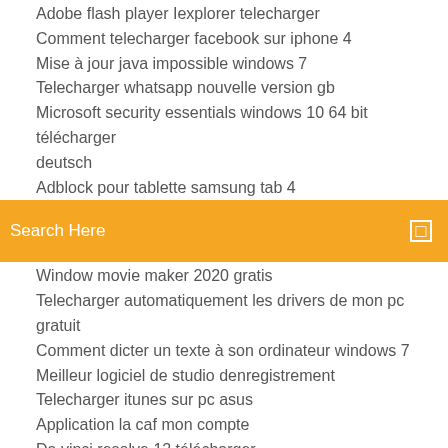Adobe flash player Iexplorer telecharger
Comment telecharger facebook sur iphone 4
Mise à jour java impossible windows 7
Telecharger whatsapp nouvelle version gb
Microsoft security essentials windows 10 64 bit télécharger deutsch
Adblock pour tablette samsung tab 4
Search Here
Window movie maker 2020 gratis
Telecharger automatiquement les drivers de mon pc gratuit
Comment dicter un texte à son ordinateur windows 7
Meilleur logiciel de studio denregistrement
Telecharger itunes sur pc asus
Application la caf mon compte
Da vinci resolve 12 télécharger
Fond ecran animé aquarium windows 7
Vider cache dune application iphone
Télécharger music mp3 player online free